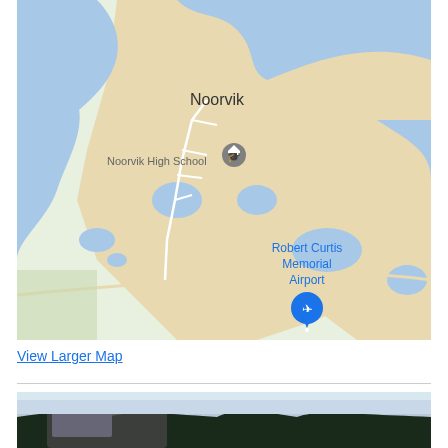[Figure (map): Google Maps aerial/road map showing Noorvik, Alaska with river channels in blue, sandy terrain in beige, green areas. Shows 'Noorvik' label, 'Noorvik High School' with a school pin marker, and 'Robert Curtis Memorial Airport' with a blue airplane pin marker. Streets shown as white lines.]
View Larger Map
[Figure (photo): Partial photo showing a vehicle and trees in a winter/overcast scene, cut off at bottom of page.]